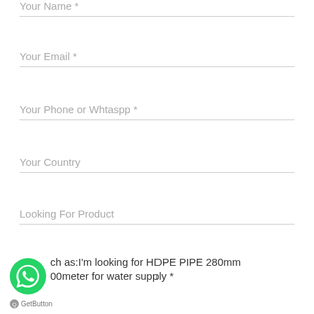Your Name *
Your Email *
Your Phone or Whtaspp *
Your Country
Looking For Product
ch as:I'm looking for HDPE PIPE 280mm 00meter for water supply *
GetButton